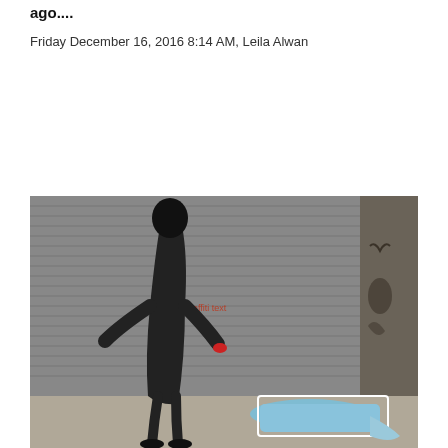ago....
Friday December 16, 2016 8:14 AM, Leila Alwan
[Figure (other): Tweet button and Share button with count of 6]
[Figure (photo): A woman dressed in black walking past a body covered with a blue cloth on a street with a metal shutter behind, graffiti on the walls]